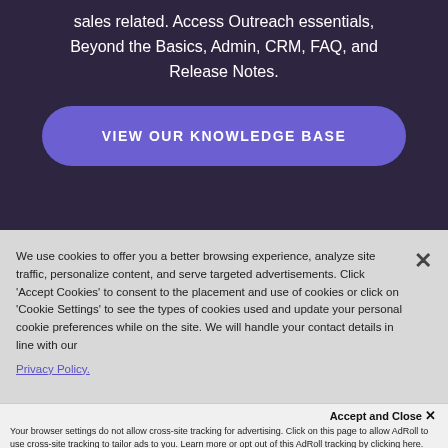sales related. Access Outreach essentials, Beyond the Basics, Admin, CRM, FAQ, and Release Notes.
VIEW OUR KNOWLEDGE BASE
We use cookies to offer you a better browsing experience, analyze site traffic, personalize content, and serve targeted advertisements. Click 'Accept Cookies' to consent to the placement and use of cookies or click on 'Cookie Settings' to see the types of cookies used and update your personal cookie preferences while on the site. We will handle your contact details in line with our Privacy Policy.
Accept and Close × Your browser settings do not allow cross-site tracking for advertising. Click on this page to allow AdRoll to use cross-site tracking to tailor ads to you. Learn more or opt out of this AdRoll tracking by clicking here. This message only appears once.